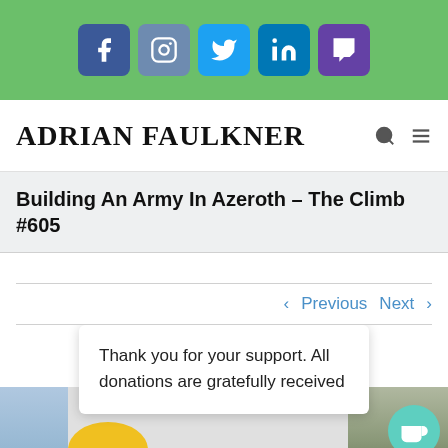[Figure (screenshot): Social media icon bar with Facebook, Instagram, Twitter, LinkedIn, Twitch icons on green background]
ADRIAN FAULKNER
Building An Army In Azeroth – The Climb #605
Previous  Next
Thank you for your support. All donations are gratefully received